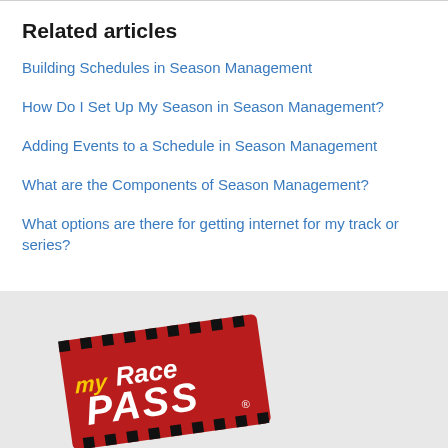Related articles
Building Schedules in Season Management
How Do I Set Up My Season in Season Management?
Adding Events to a Schedule in Season Management
What are the Components of Season Management?
What options are there for getting internet for my track or series?
[Figure (logo): MyRacePass logo — red ticket-shaped background with checkered border, 'my' in yellow script, 'Race' in white, 'PASS' in large white bold letters, registered trademark symbol]